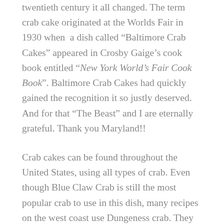twentieth century it all changed. The term crab cake originated at the Worlds Fair in 1930 when a dish called “Baltimore Crab Cakes” appeared in Crosby Gaige’s cook book entitled “New York World’s Fair Cook Book”. Baltimore Crab Cakes had quickly gained the recognition it so justly deserved. And for that “The Beast” and I are eternally grateful. Thank you Maryland!!
Crab cakes can be found throughout the United States, using all types of crab. Even though Blue Claw Crab is still the most popular crab to use in this dish, many recipes on the west coast use Dungeness crab. They can also be found in many sizes, from a large cake to be used for a sandwich to a miniature crab cake to pass around as an hors d’oeuvre. Some like to deep fry their crab cakes and some like to pan sear them. You can also